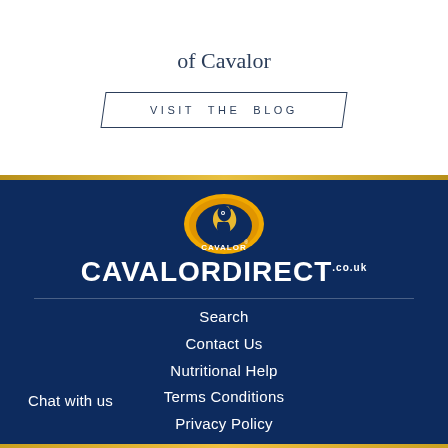of Cavalor
VISIT THE BLOG
[Figure (logo): Cavalor Direct logo: horse head in oval with orange/yellow background, text CAVALORDIRECT.CO.UK below]
Search
Contact Us
Nutritional Help
Terms Conditions
Privacy Policy
Chat with us